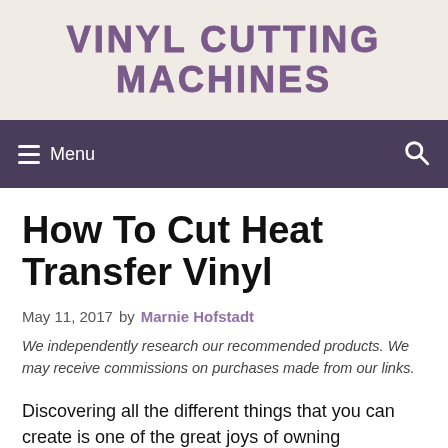VINYL CUTTING MACHINES
Menu
How To Cut Heat Transfer Vinyl
May 11, 2017 by Marnie Hofstadt
We independently research our recommended products. We may receive commissions on purchases made from our links.
Discovering all the different things that you can create is one of the great joys of owning a vinyl cutting machine. But as long as